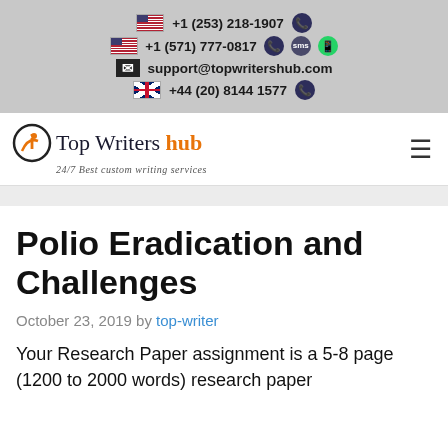+1 (253) 218-1907 | +1 (571) 777-0817 | support@topwritershub.com | +44 (20) 8144 1577
[Figure (logo): Top Writers Hub logo with circular icon and tagline '24/7 Best custom writing services']
Polio Eradication and Challenges
October 23, 2019 by top-writer
Your Research Paper assignment is a 5-8 page (1200 to 2000 words) research paper